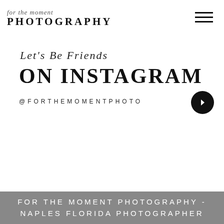for the moment PHOTOGRAPHY
Let's Be Friends
ON INSTAGRAM
@FORTHEMOMENTPHOTO
FOR THE MOMENT PHOTOGRAPHY - NAPLES FLORIDA PHOTOGRAPHER